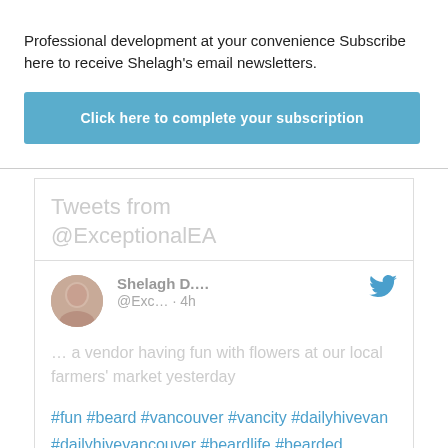×
Professional development at your convenience Subscribe here to receive Shelagh's email newsletters.
Click here to complete your subscription
Tweets from @ExceptionalEA
[Figure (screenshot): Twitter widget showing a tweet from Shelagh D. (@Exc...) posted 4h ago, with text '... a vendor having fun with flowers at our local farmers' market yesterday' and hashtags #fun #beard #vancouver #vancity #dailyhivevan #dailyhivevancouver #beardlife #bearded #beardstyles #flowerpower]